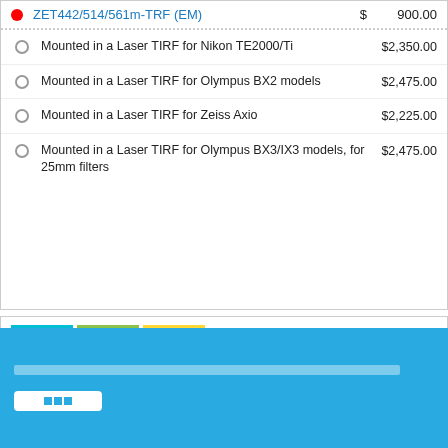ZET442/514/561m-TRF (EM)  $  900.00
Mounted in a Laser TIRF for Nikon TE2000/Ti  $2,350.00
Mounted in a Laser TIRF for Olympus BX2 models  $2,475.00
Mounted in a Laser TIRF for Zeiss Axio  $2,225.00
Mounted in a Laser TIRF for Olympus BX3/IX3 models, for 25mm filters  $2,475.00
[Figure (other): Filter transmission spectrum chart showing color blocks (cyan, green, yellow) and a wheel required badge with spectral curves in red, black, pink, and blue lines across wavelength range]
WHEEL REQUIRED
[footer bar with placeholder text and button]